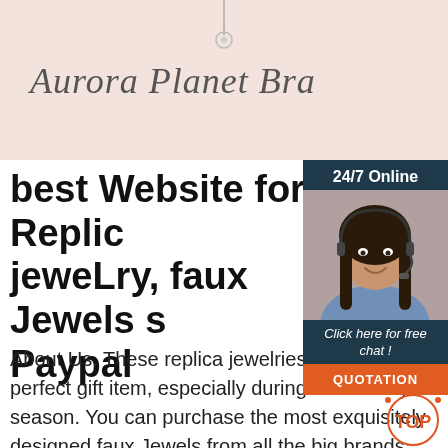[Figure (screenshot): Header banner with pinkish-beige background showing cursive brand name 'Aurora Planet Bra...' and a small jewelry charm at top center]
best Website for Replica jeweLry, faux Jewels s... Paypal
[Figure (infographic): 24/7 Online chat widget with dark navy background, photo of smiling woman with headset, 'Click here for free chat!' text and orange QUOTATION button]
[Figure (logo): Orange/red TOP badge with decorative dots]
About Us. These replica jewelries work as perfect gift item, especially during the holiday season. You can purchase the most exquisitely designed faux Jewels from all the big brands like Bvlgari, Cartier,Christian Dior, Gucci, Hermes, Louis Vuitton,